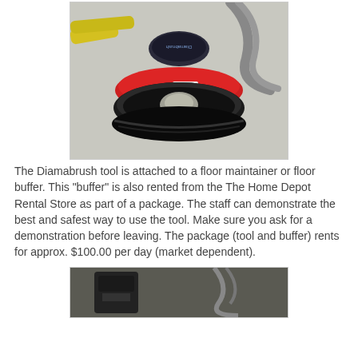[Figure (photo): Top-down view of a Diamabrush floor buffer tool with a circular black brush head, red skirt, and hose attachment, viewed from above on a light grey floor.]
The Diamabrush tool is attached to a floor maintainer or floor buffer.  This "buffer" is also rented from the The Home Depot Rental Store as part of a package.  The staff can demonstrate the best and safest way to use the tool.  Make sure you ask for a demonstration before leaving.  The package (tool and buffer) rents for approx. $100.00 per day (market dependent).
[Figure (photo): Partial view of a floor buffer machine on a dark surface, showing the base/motor unit from ground level.]